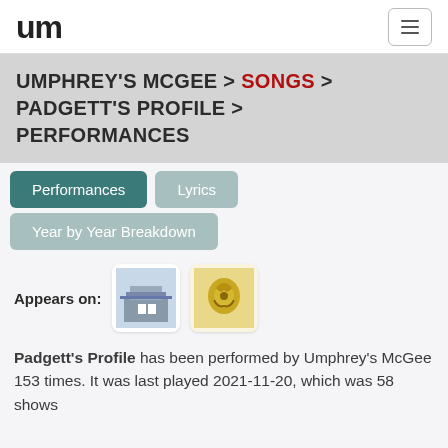um (logo) | hamburger menu
UMPHREY'S MCGEE > SONGS > PADGETT'S PROFILE > PERFORMANCES
Performances
Lyrics
Year by Year Breakdown
Appears on: [album thumbnail 1] [album thumbnail 2]
Padgett's Profile has been performed by Umphrey's McGee 153 times. It was last played 2021-11-20, which was 58 shows